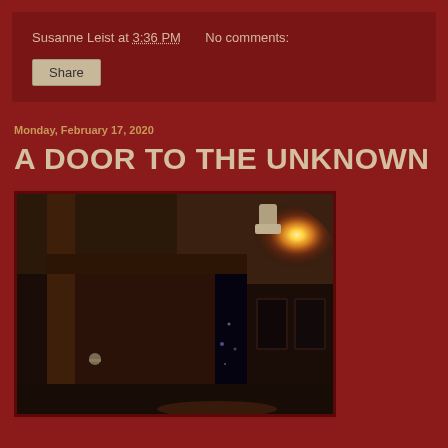Susanne Leist at 3:36 PM   No comments:
Share
Monday, February 17, 2020
A DOOR TO THE UNKNOWN
[Figure (photo): A photograph of an open door at night, showing a dark hallway or entryway with a bright warm-colored light (orange/yellow glow) visible in the upper right area, and a dark exterior scene visible through the partially open door.]